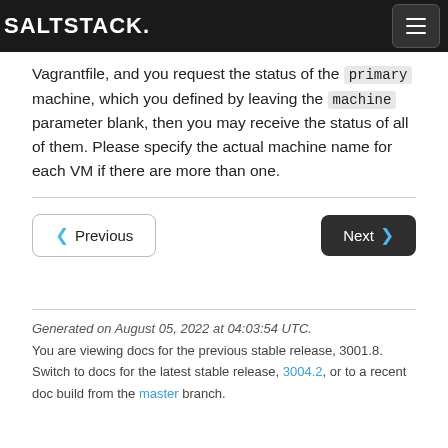SALTSTACK.
Vagrantfile, and you request the status of the primary machine, which you defined by leaving the machine parameter blank, then you may receive the status of all of them. Please specify the actual machine name for each VM if there are more than one.
Previous  Next
Generated on August 05, 2022 at 04:03:54 UTC.
You are viewing docs for the previous stable release, 3001.8.
Switch to docs for the latest stable release, 3004.2, or to a recent doc build from the master branch.